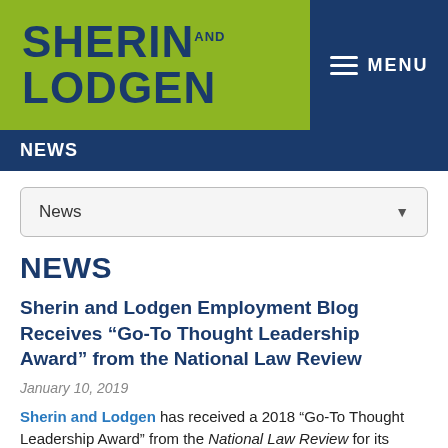[Figure (logo): Sherin and Lodgen law firm logo on green background with menu button on dark blue background]
NEWS
News ▼
NEWS
Sherin and Lodgen Employment Blog Receives “Go-To Thought Leadership Award” from the National Law Review
January 10, 2019
Sherin and Lodgen has received a 2018 “Go-To Thought Leadership Award” from the National Law Review for its employment blog. Sherin and Lodgen was recognized for its